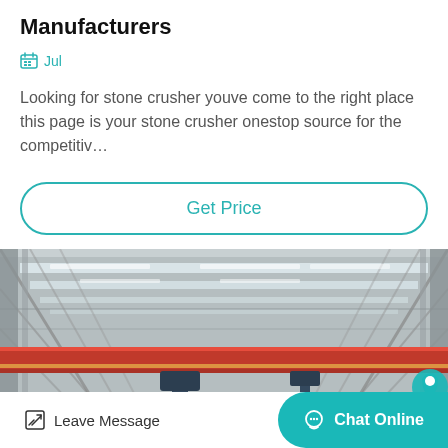Manufacturers
Jul
Looking for stone crusher youve come to the right place this page is your stone crusher onestop source for the competitiv…
Get Price
[Figure (photo): Interior of a large industrial factory/warehouse with overhead crane (red bridge crane) visible suspended from the steel roof structure. The space has high ceilings with skylights and structural steel framing.]
Leave Message
Chat Online